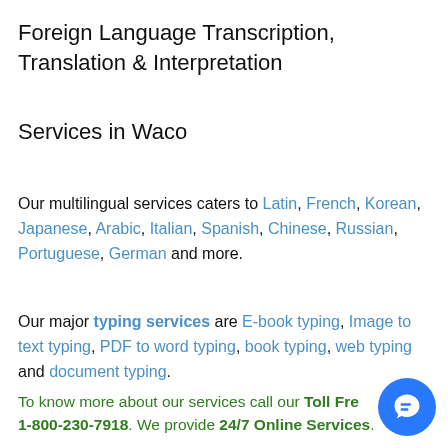Foreign Language Transcription, Translation & Interpretation
Services in Waco
Our multilingual services caters to Latin, French, Korean, Japanese, Arabic, Italian, Spanish, Chinese, Russian, Portuguese, German and more.
Our major typing services are E-book typing, Image to text typing, PDF to word typing, book typing, web typing and document typing.
To know more about our services call our Toll Free 1-800-230-7918. We provide 24/7 Online Services.